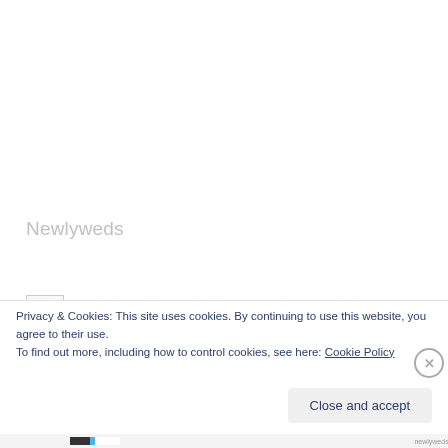Newlyweds
Privacy & Cookies: This site uses cookies. By continuing to use this website, you agree to their use.
To find out more, including how to control cookies, see here: Cookie Policy
Close and accept